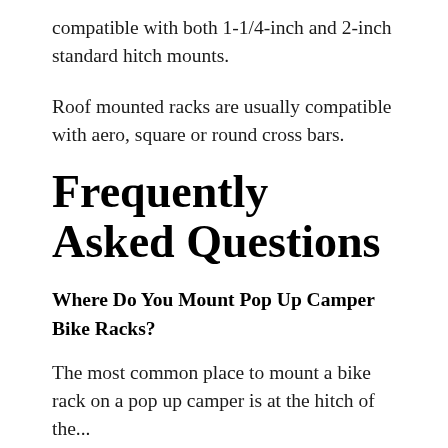compatible with both 1-1/4-inch and 2-inch standard hitch mounts.
Roof mounted racks are usually compatible with aero, square or round cross bars.
Frequently Asked Questions
Where Do You Mount Pop Up Camper Bike Racks?
The most common place to mount a bike rack on a pop up camper is at the hitch of the...